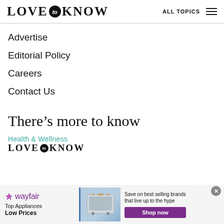LOVE to KNOW | ALL TOPICS
Advertise
Editorial Policy
Careers
Contact Us
There's more to know
[Figure (logo): Health & Wellness LoveToKnow sub-brand logo in teal/black]
[Figure (infographic): Wayfair advertisement banner: Top Appliances Low Prices, Save on best selling brands that live up to the hype, Shop now button]